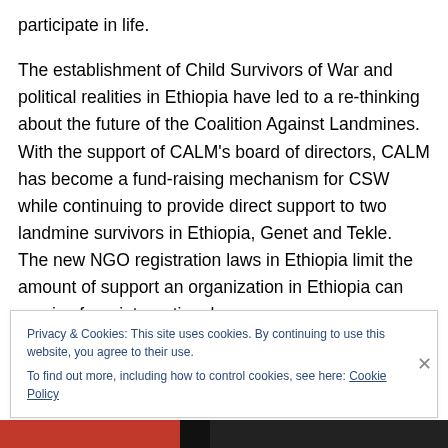participate in life.

The establishment of Child Survivors of War and political realities in Ethiopia have led to a re-thinking about the future of the Coalition Against Landmines.  With the support of CALM's board of directors, CALM has become a fund-raising mechanism for CSW while continuing to provide direct support to two landmine survivors in Ethiopia, Genet and Tekle.  The new NGO registration laws in Ethiopia limit the amount of support an organization in Ethiopia can receive from international
Privacy & Cookies: This site uses cookies. By continuing to use this website, you agree to their use.
To find out more, including how to control cookies, see here: Cookie Policy